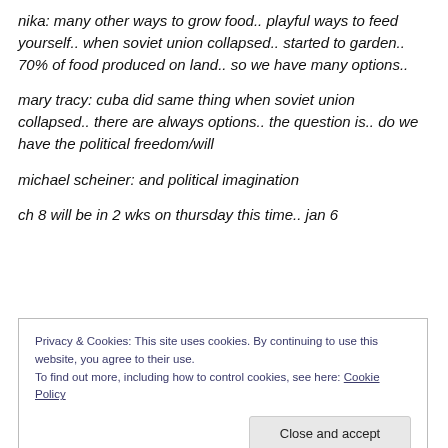nika: many other ways to grow food.. playful ways to feed yourself.. when soviet union collapsed.. started to garden.. 70% of food produced on land.. so we have many options..
mary tracy: cuba did same thing when soviet union collapsed.. there are always options.. the question is.. do we have the political freedom/will
michael scheiner: and political imagination
ch 8 will be in 2 wks on thursday this time.. jan 6
Privacy & Cookies: This site uses cookies. By continuing to use this website, you agree to their use.
To find out more, including how to control cookies, see here: Cookie Policy
Close and accept